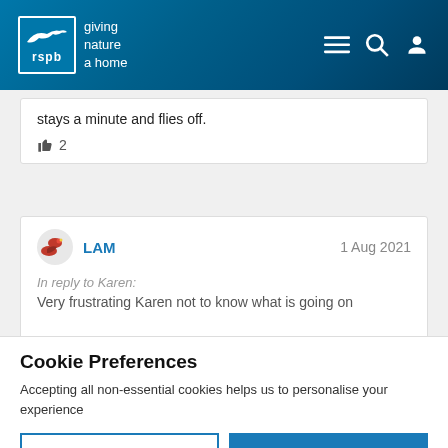[Figure (logo): RSPB logo with bird silhouette and text 'giving nature a home']
stays a minute and flies off.
👍 2
LAM   1 Aug 2021
In reply to Karen:
Very frustrating Karen not to know what is going on
Cookie Preferences
Accepting all non-essential cookies helps us to personalise your experience
EDIT SETTINGS
ACCEPT ALL